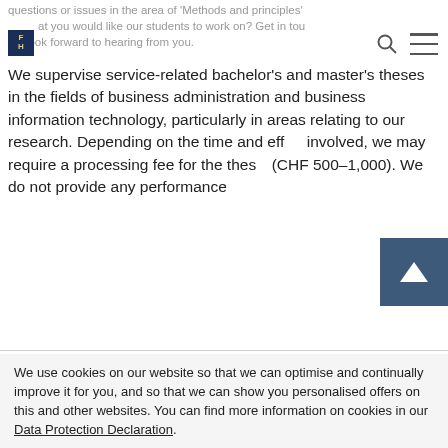questions or issues in the area of 'Methods and principles' that you would like our students to work on? Get in touch – we look forward to hearing from you.
We supervise service-related bachelor's and master's theses in the fields of business administration and business information technology, particularly in areas relating to our research. Depending on the time and effort involved, we may require a processing fee for the thesis (CHF 500–1,000). We do not provide any performance
We use cookies on our website so that we can optimise and continually improve it for you, and so that we can show you personalised offers on this and other websites. You can find more information on cookies in our Data Protection Declaration.
Accept cookies